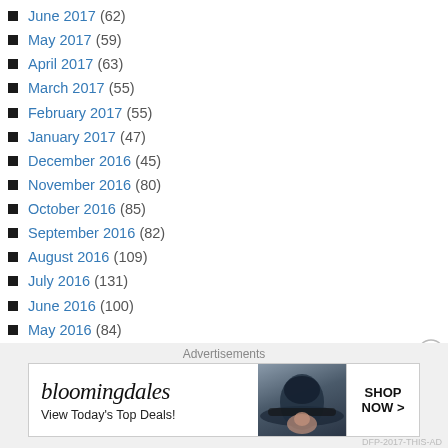June 2017 (62)
May 2017 (59)
April 2017 (63)
March 2017 (55)
February 2017 (55)
January 2017 (47)
December 2016 (45)
November 2016 (80)
October 2016 (85)
September 2016 (82)
August 2016 (109)
July 2016 (131)
June 2016 (100)
May 2016 (84)
April 2016 (119)
March 2016 (124)
February 2016 (119)
January 2016 (132)
December 2015 (135)
November 2015 (149)
October 2015 (113)
[Figure (screenshot): Bloomingdales advertisement banner: 'View Today's Top Deals! SHOP NOW >']